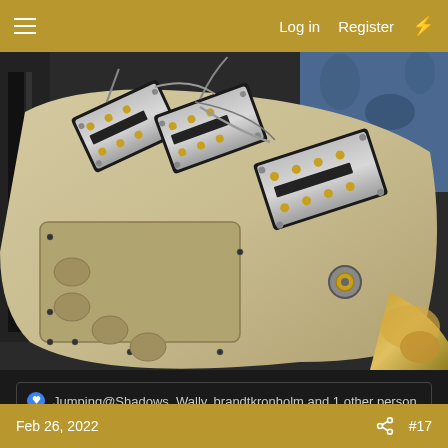Log in  Register
[Figure (photo): Close-up photograph of the back of an electric guitar body with the cover plate removed, showing three humbucker pickups mounted and wired, with visible routing cavities, screw holes, and hardware on a cream/white guitar body. A blue floral fabric is visible in the background.]
Jumping@Shadows, Wally, brandtkronholm and 1 other person
Feb 26, 2022  #17